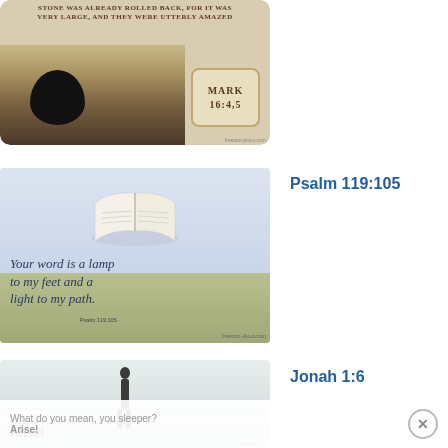[Figure (illustration): Bible verse image for Mark 16:4,5 showing a rolled stone tomb entrance with text 'STONE WAS ALREADY ROLLED BACK, FOR IT WAS VERY LARGE, AND THEY WERE UTTERLY AMAZED' and reference MARK 16:4,5]
[Figure (illustration): Bible verse image for Psalm 119:105 showing an open Bible above clouds with text 'Your word is a lamp to my feet and a light to my path. Psalm 119:105']
Psalm 119:105
[Figure (illustration): Bible verse image for Jonah 1:6 showing a silhouette of a person standing, with partial text 'What do you mean, you sleeper? Arise!']
Jonah 1:6
What do you mean, you sleeper?
Arise!